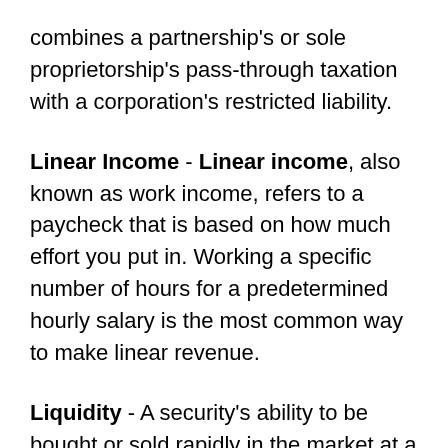combines a partnership's or sole proprietorship's pass-through taxation with a corporation's restricted liability.
Linear Income - Linear income, also known as work income, refers to a paycheck that is based on how much effort you put in. Working a specific number of hours for a predetermined hourly salary is the most common way to make linear revenue.
Liquidity - A security's ability to be bought or sold rapidly in the market at a price mirroring its current value.